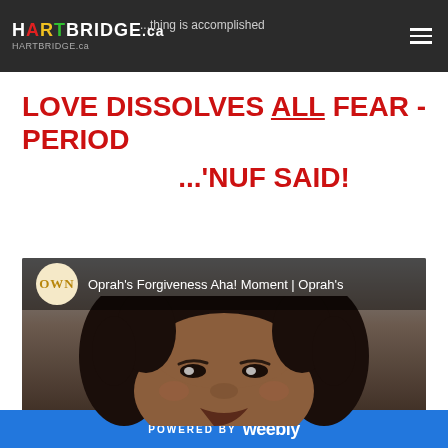HARTBRIDGE.ca — ...thing is accomplished
LOVE DISSOLVES ALL FEAR - PERIOD
...'NUF SAID!
[Figure (screenshot): OWN YouTube video thumbnail showing Oprah's Forgiveness Aha! Moment | Oprah's, with Oprah Winfrey's face visible in the lower portion of the thumbnail]
POWERED BY weebly